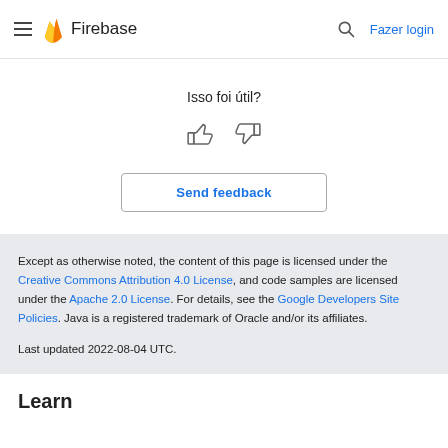Firebase — Fazer login
Isso foi útil?
[Figure (illustration): Thumbs up and thumbs down icons for feedback]
Send feedback
Except as otherwise noted, the content of this page is licensed under the Creative Commons Attribution 4.0 License, and code samples are licensed under the Apache 2.0 License. For details, see the Google Developers Site Policies. Java is a registered trademark of Oracle and/or its affiliates.
Last updated 2022-08-04 UTC.
Learn